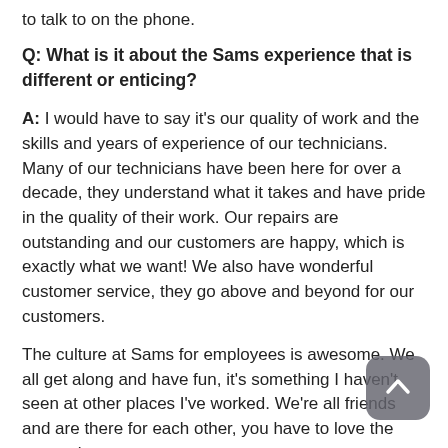to talk to on the phone.
Q: What is it about the Sams experience that is different or enticing?
A: I would have to say it's our quality of work and the skills and years of experience of our technicians. Many of our technicians have been here for over a decade, they understand what it takes and have pride in the quality of their work. Our repairs are outstanding and our customers are happy, which is exactly what we want! We also have wonderful customer service, they go above and beyond for our customers.
The culture at Sams for employees is awesome. We all get along and have fun, it's something I haven't seen at other places I've worked. We're all friends and are there for each other, you have to love the atmosphere.